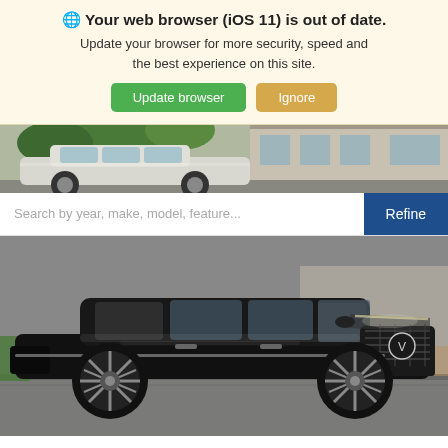🌐 Your web browser (iOS 11) is out of date. Update your browser for more security, speed and the best experience on this site. [Update browser] [Ignore]
[Figure (photo): Partial view of a white/silver SUV parked in front of a building with trees in background]
Search by year, make, model, feature...  [Refine]
[Figure (photo): Black Volvo XC60 SUV photographed from front-left angle in a parking lot]
New 2023
Volvo XC60 Plus Bright Th...